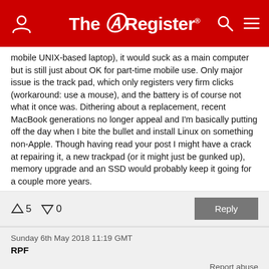The Register
mobile UNIX-based laptop), it would suck as a main computer but is still just about OK for part-time mobile use. Only major issue is the track pad, which only registers very firm clicks (workaround: use a mouse), and the battery is of course not what it once was. Dithering about a replacement, recent MacBook generations no longer appeal and I'm basically putting off the day when I bite the bullet and install Linux on something non-Apple. Though having read your post I might have a crack at repairing it, a new trackpad (or it might just be gunked up), memory upgrade and an SSD would probably keep it going for a couple more years.
↑5  ↓0   Reply
Sunday 6th May 2018 11:19 GMT
RPF
Report abuse